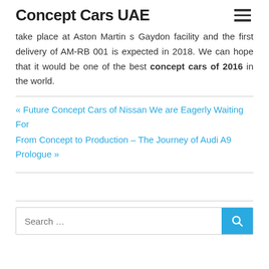Concept Cars UAE
take place at Aston Martin s Gaydon facility and the first delivery of AM-RB 001 is expected in 2018. We can hope that it would be one of the best concept cars of 2016 in the world.
« Future Concept Cars of Nissan We are Eagerly Waiting For
From Concept to Production – The Journey of Audi A9 Prologue »
Search …